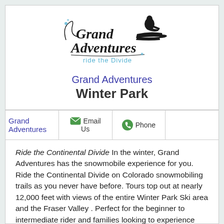[Figure (logo): Grand Adventures logo with cursive/decorative text 'Grand Adventures' and a snowmobiler silhouette, with tagline 'ride the Divide' in teal]
Grand Adventures
Winter Park
| Grand Adventures | Email Us | Phone |  |
| --- | --- | --- | --- |
|  |
Ride the Continental Divide  In the winter, Grand Adventures has the snowmobile experience for you. Ride the Continental Divide on Colorado snowmobiling trails as you never have before. Tours top out at nearly 12,000 feet with views of the entire Winter Park Ski area and the Fraser Valley . Perfect for the beginner to intermediate rider and families looking to experience Colorado 's backcountry on a snowmobile. Try our newest Colorado tourist attraction location at Winter Park Mountain Lodge, located across from the Winter Park Resort. You will see our snowmobiles arriving and departing from the base of the ski area. Our